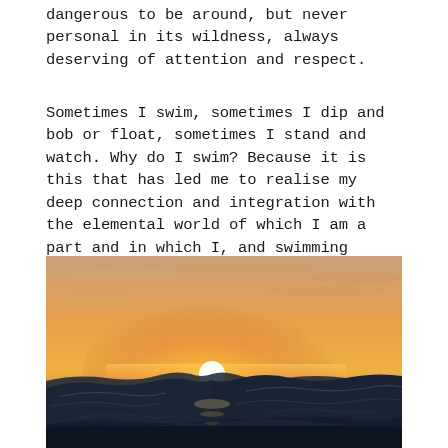dangerous to be around, but never personal in its wildness, always deserving of attention and respect.
Sometimes I swim, sometimes I dip and bob or float, sometimes I stand and watch. Why do I swim? Because it is this that has led me to realise my deep connection and integration with the elemental world of which I am a part and in which I, and swimming itself, no longer really matter.
[Figure (photo): A dramatic ocean sunset photograph showing dark rolling waves in the foreground with a bright glowing sun setting on the horizon against an orange and golden sky with light clouds.]